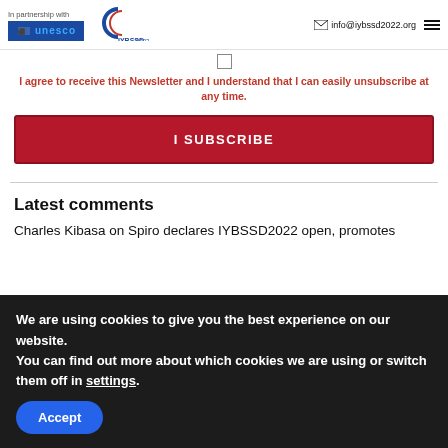In partnership with | info@iybssd2022.org
I agree to receive this Newsletter and I understand that I can easily unsubscribe at any time.
I SUBSCRIBE
Latest comments
Charles Kibasa on Spiro declares IYBSSD2022 open, promotes
We are using cookies to give you the best experience on our website.
You can find out more about which cookies we are using or switch them off in settings.
Accept